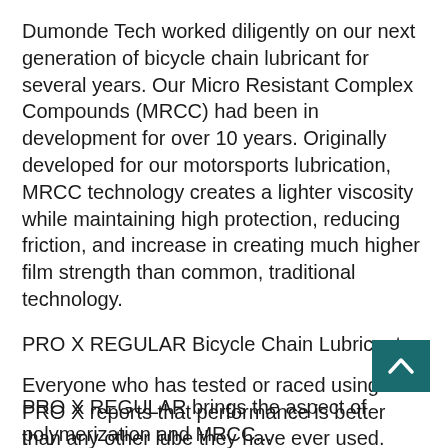Dumonde Tech worked diligently on our next generation of bicycle chain lubricant for several years. Our Micro Resistant Complex Compounds (MRCC) had been in development for over 10 years. Originally developed for our motorsports lubrication, MRCC technology creates a lighter viscosity while maintaining high protection, reducing friction, and increase in creating much higher film strength than common, traditional technology.
PRO X REGULAR Bicycle Chain Lubricant
Everyone who has tested or raced using PRO X reports that performance is better than any other lube they have ever used. Even those riders that use our Standard Lite and Original chain lubes. A bold statement even for us to claim, but comes from years of technology, formulation, and testing.
PRO X REGULAR brings the aspect of polymerization and MRCC...